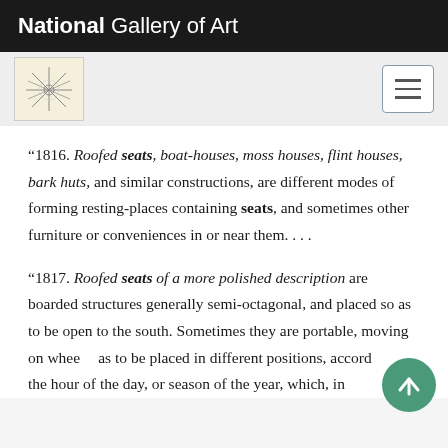National Gallery of Art
“1816. Roofed seats, boat-houses, moss houses, flint houses, bark huts, and similar constructions, are different modes of forming resting-places containing seats, and sometimes other furniture or conveniences in or near them. . . .
“1817. Roofed seats of a more polished description are boarded structures generally semi-octagonal, and placed so as to be open to the south. Sometimes they are portable, moving on wheels, as to be placed in different positions, according to the hour of the day, or season of the year, which, in